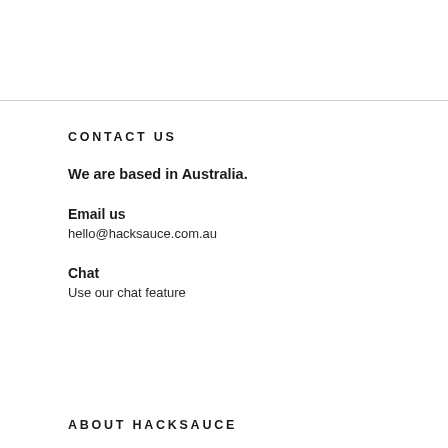CONTACT US
We are based in Australia.
Email us
hello@hacksauce.com.au
Chat
Use our chat feature
ABOUT HACKSAUCE